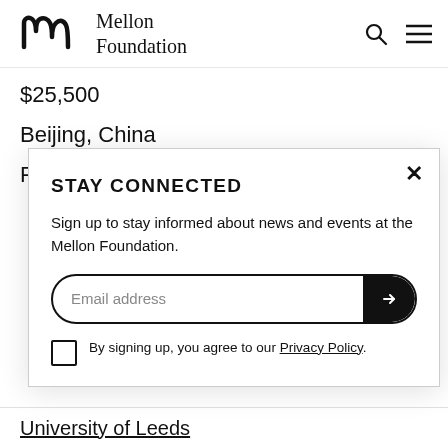[Figure (logo): Mellon Foundation logo with stylized 'm' icon and text 'Mellon Foundation']
$25,500
Beijing, China
Public Knowledge
STAY CONNECTED
Sign up to stay informed about news and events at the Mellon Foundation.
Email address
By signing up, you agree to our Privacy Policy.
University of Leeds